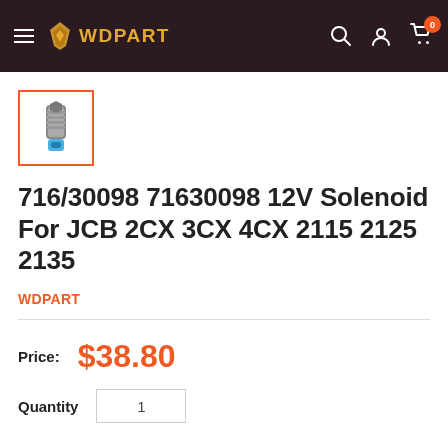WDPART — navigation bar with hamburger menu, logo, search, account, and cart (0 items)
[Figure (photo): Small thumbnail image of a 12V solenoid part (metallic cylindrical component with blue connector end), displayed inside an orange-bordered selection box.]
716/30098 71630098 12V Solenoid For JCB 2CX 3CX 4CX 2115 2125 2135
WDPART
Price: $38.80
Quantity: 1